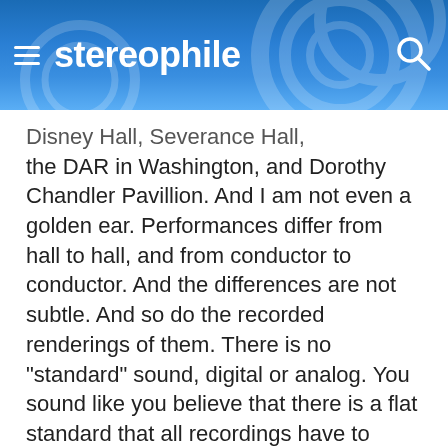stereophile
Disney Hall, Severance Hall, the DAR in Washington, and Dorothy Chandler Pavillion. And I am not even a golden ear. Performances differ from hall to hall, and from conductor to conductor. And the differences are not subtle. And so do the recorded renderings of them. There is no "standard" sound, digital or analog. You sound like you believe that there is a flat standard that all recordings have to replicate. Get an equalizer. In the digital